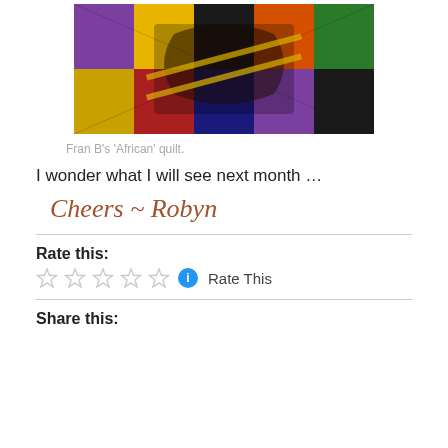[Figure (photo): Colorful African-themed patchwork quilt with bright patterns in purple, yellow, black, orange, green, and red fabrics]
Fran B's 'African' quilt.
I wonder what I will see next month …
Cheers ~ Robyn
Rate this:
Rate This
Share this: